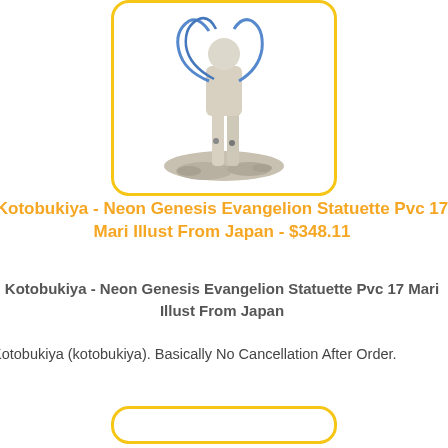[Figure (photo): Product photo of a Kotobukiya Neon Genesis Evangelion PVC statuette (Mari Illustrious) shown from below the waist, with blue cable/wire accessories, displayed inside a rounded yellow-bordered frame]
Kotobukiya - Neon Genesis Evangelion Statuette Pvc 17 Mari Illust From Japan - $348.11
Kotobukiya - Neon Genesis Evangelion Statuette Pvc 17 Mari Illust From Japan
Kotobukiya (kotobukiya). Basically No Cancellation After Order.